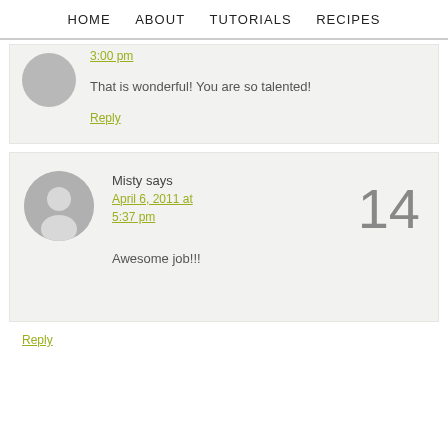HOME   ABOUT   TUTORIALS   RECIPES
3:00 pm
That is wonderful! You are so talented!
Reply
Misty says
April 6, 2011 at 5:37 pm
14
Awesome job!!!
Reply